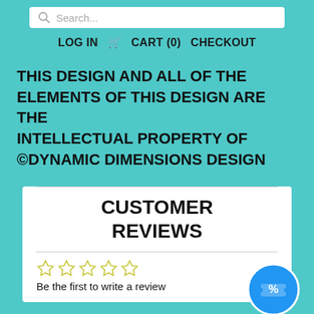Search...
LOG IN  CART (0)  CHECKOUT
THIS DESIGN AND ALL OF THE ELEMENTS OF THIS DESIGN ARE THE INTELLECTUAL PROPERTY OF ©DYNAMIC DIMENSIONS DESIGN
CUSTOMER REVIEWS
Be the first to write a review